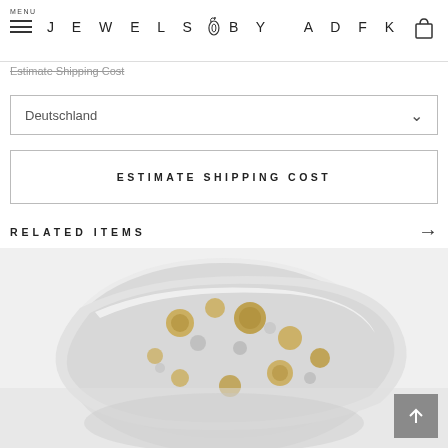MENU | JEWELS BY ADFK
Estimate Shipping Cost
Deutschland
ESTIMATE SHIPPING COST
RELATED ITEMS
[Figure (photo): Close-up photo of a silver and gold ring with organic circular cutouts and gold fused detail spots, blurred background]